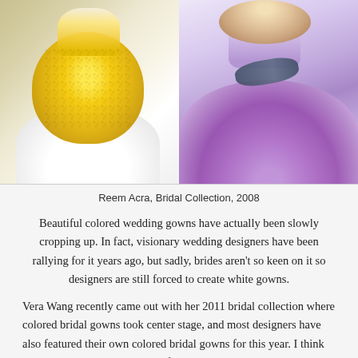[Figure (photo): Two models wearing colorful bridal gowns: left model in yellow/gold sequined ball gown with white underskirt, right model in purple/violet gown with dark sash, both full-length editorial fashion photos]
Reem Acra, Bridal Collection, 2008
Beautiful colored wedding gowns have actually been slowly cropping up. In fact, visionary wedding designers have been rallying for it years ago, but sadly, brides aren't so keen on it so designers are still forced to create white gowns.
Vera Wang recently came out with her 2011 bridal collection where colored bridal gowns took center stage, and most designers have also featured their own colored bridal gowns for this year. I think that this is the designers' way of saying that they themselves are already sick of white bridal gowns and it's